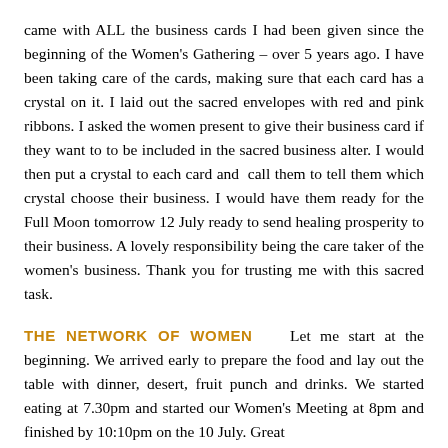came with ALL the business cards I had been given since the beginning of the Women's Gathering – over 5 years ago. I have been taking care of the cards, making sure that each card has a crystal on it. I laid out the sacred envelopes with red and pink ribbons. I asked the women present to give their business card if they want to to be included in the sacred business alter. I would then put a crystal to each card and call them to tell them which crystal choose their business. I would have them ready for the Full Moon tomorrow 12 July ready to send healing prosperity to their business. A lovely responsibility being the care taker of the women's business. Thank you for trusting me with this sacred task.
THE NETWORK OF WOMEN   Let me start at the beginning. We arrived early to prepare the food and lay out the table with dinner, desert, fruit punch and drinks. We started eating at 7.30pm and started our Women's Meeting at 8pm and finished by 10:10pm on the 10 July. Great